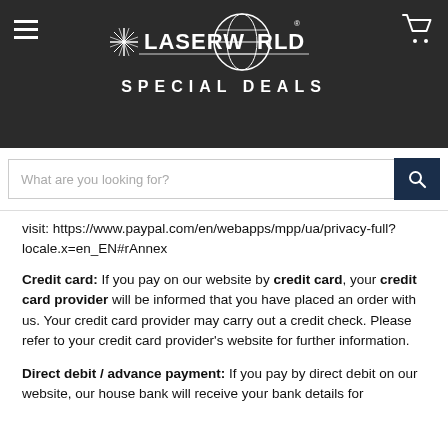[Figure (logo): Laserworld Special Deals website header with logo, hamburger menu, and cart icon on dark background]
[Figure (screenshot): Search bar with placeholder 'What are you looking for?' and dark blue search button with magnifying glass icon]
visit: https://www.paypal.com/en/webapps/mpp/ua/privacy-full?locale.x=en_EN#rAnnex
Credit card: If you pay on our website by credit card, your credit card provider will be informed that you have placed an order with us. Your credit card provider may carry out a credit check. Please refer to your credit card provider's website for further information.
Direct debit / advance payment: If you pay by direct debit on our website, our house bank will receive your bank details for